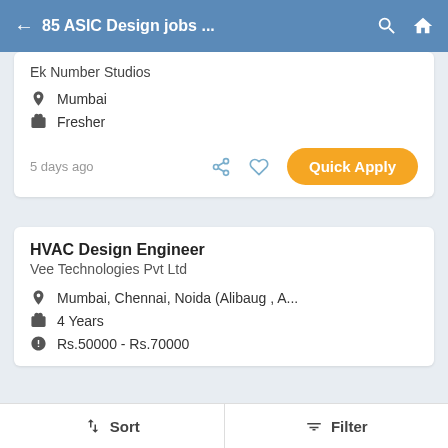85 ASIC Design jobs ...
Ek Number Studios
Mumbai
Fresher
5 days ago
Quick Apply
HVAC Design Engineer
Vee Technologies Pvt Ltd
Mumbai, Chennai, Noida (Alibaug , A...
4 Years
Rs.50000 - Rs.70000
Sort   Filter